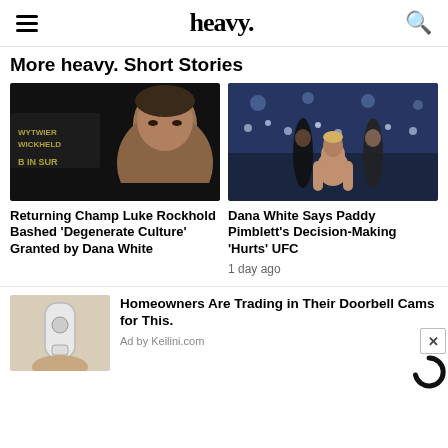heavy.
More heavy. Short Stories
[Figure (photo): Close-up photo of Luke Rockhold at a press event, dark background with text behind him]
Returning Champ Luke Rockhold Bashed 'Degenerate Culture' Granted by Dana White
[Figure (photo): Paddy Pimblett at a UFC event surrounded by crowd]
Dana White Says Paddy Pimblett's Decision-Making 'Hurts' UFC
1 day ago
[Figure (photo): Hand holding a white security camera device]
Homeowners Are Trading in Their Doorbell Cams for This.
Ad by Keilini.com